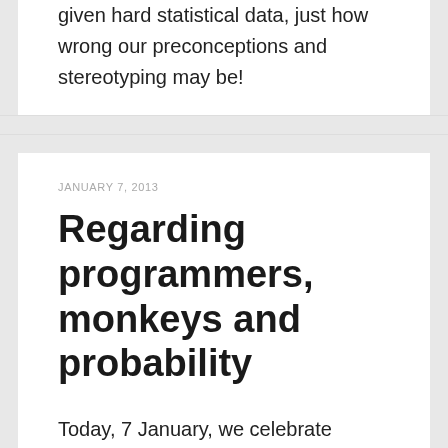given hard statistical data, just how wrong our preconceptions and stereotyping may be!
JANUARY 7, 2013
Regarding programmers, monkeys and probability
Today, 7 January, we celebrate
International Programmers Day.